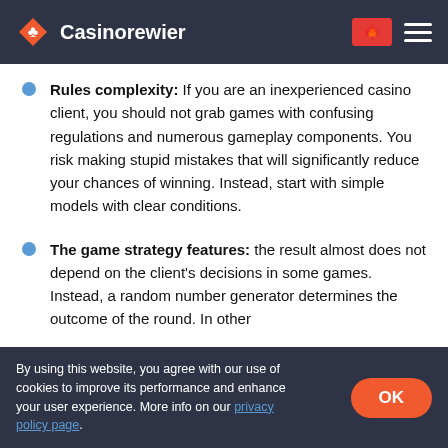Casinorewier
Rules complexity: If you are an inexperienced casino client, you should not grab games with confusing regulations and numerous gameplay components. You risk making stupid mistakes that will significantly reduce your chances of winning. Instead, start with simple models with clear conditions.
The game strategy features: the result almost does not depend on the client's decisions in some games. Instead, a random number generator determines the outcome of the round. In other
By using this website, you agree with our use of cookies to improve its performance and enhance your user experience. More info on our privacy policy page.